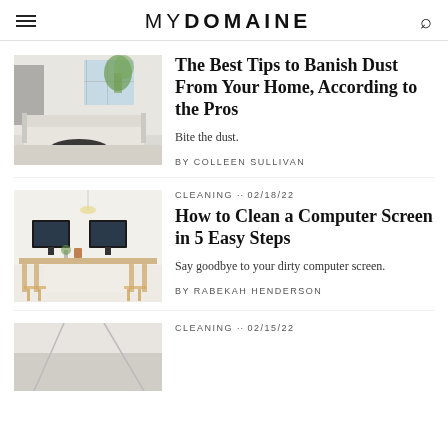MYDOMAINE
[Figure (photo): Bright white living room with sofa, black coffee table, and potted plant]
The Best Tips to Banish Dust From Your Home, According to the Pros
Bite the dust.
BY COLLEEN SULLIVAN
CLEANING · 02/18/22
[Figure (photo): Minimalist home office desk with two computer monitors and wooden stools]
How to Clean a Computer Screen in 5 Easy Steps
Say goodbye to your dirty computer screen.
BY RABEKAH HENDERSON
CLEANING · 02/15/22
[Figure (photo): Partial view of third article thumbnail]